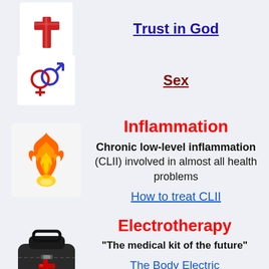[Figure (illustration): Christian cross icon in red and pink]
Trust in God
[Figure (illustration): Male and female gender symbols interlinked]
Sex
[Figure (illustration): Flame emoji representing inflammation]
Inflammation
Chronic low-level inflammation (CLII) involved in almost all health problems
How to treat CLII
[Figure (illustration): Black medical bag with red cross]
Electrotherapy
"The medical kit of the future"
The Body Electric